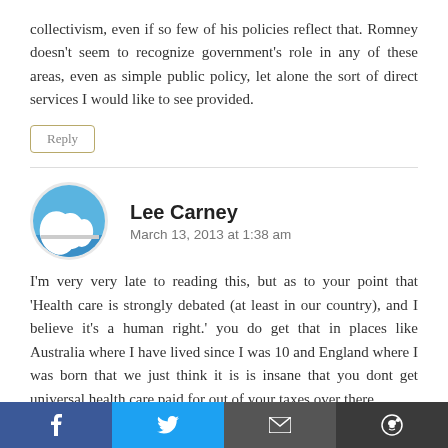collectivism, even if so few of his policies reflect that. Romney doesn't seem to recognize government's role in any of these areas, even as simple public policy, let alone the sort of direct services I would like to see provided.
Reply
Lee Carney
March 13, 2013 at 1:38 am
I'm very very late to reading this, but as to your point that 'Health care is strongly debated (at least in our country), and I believe it's a human right.' you do get that in places like Australia where I have lived since I was 10 and England where I was born that we just think it is is insane that you dont get universal health care paid for out of your taxes over there.
Facebook | Twitter | Email | Reddit